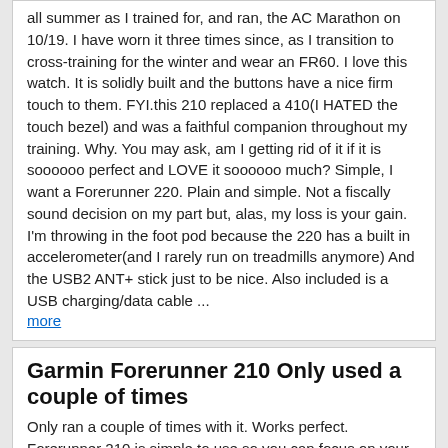all summer as I trained for, and ran, the AC Marathon on 10/19. I have worn it three times since, as I transition to cross-training for the winter and wear an FR60. I love this watch. It is solidly built and the buttons have a nice firm touch to them. FYI.this 210 replaced a 410(I HATED the touch bezel) and was a faithful companion throughout my training. Why. You may ask, am I getting rid of it if it is soooooo perfect and LOVE it soooooo much? Simple, I want a Forerunner 220. Plain and simple. Not a fiscally sound decision on my part but, alas, my loss is your gain. I'm throwing in the foot pod because the 220 has a built in accelerometer(and I rarely run on treadmills anymore) And the USB2 ANT+ stick just to be nice. Also included is a USB charging/data cable ... more
Garmin Forerunner 210 Only used a couple of times
Only ran a couple of times with it. Works perfect. Forerunner 210 is simple to use so you can focus on your workout. Out of the box. You'll charge it, take it outside to find GPS satellites and answer a few setup questions. Then just press start and take off. Once you're done, press stop. It really is that easy. For outdoor runs. Forerunner 210 uses GPS to accurately record your time, pace and distance. To track that same data at the gym, snap the foot pod¹ onto your shoe and you're good to go. Using advanced accelerometer technology, the foot pod collects and sends precise data about your movements, gathering distance and speed data that is 90% accurate for most users, right out of the box. Forerunner 210 also works with certain indoor fitness equipment so you can track and store data from a treadmill run or an indoor cycling workout. ... more
right now on ebay